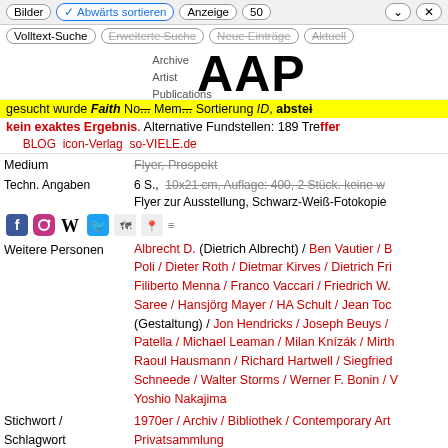Bilder | Abwärts sortieren | Anzeige 50
Volltext-Suche | Erweiterte Suche | Neue Einträge | Aktuell
Archive Artist Publications — AAP logo
gesucht wurde Faith No... Mem... Sortierung ID, abstei...
kein exaktes Ergebnis. Alternative Fundstellen: 189 Treffer
BLOG icon-Verlag so-VIELE.de
Medium: Flyer, Prospekt
Techn. Angaben: 6 S., 10x21 cm, Auflage: 400, 2 Stück. keine w... Flyer zur Ausstellung, Schwarz-Weiß-Fotokopie
Weitere Personen: Albrecht D. (Dietrich Albrecht) / Ben Vautier / B... Poli / Dieter Roth / Dietmar Kirves / Dietrich Fri... Filiberto Menna / Franco Vaccari / Friedrich W. Saree / Hansjörg Mayer / HA Schult / Jean Toc... (Gestaltung) / Jon Hendricks / Joseph Beuys / ... Patella / Michael Leaman / Milan Knízák / Mirth... Raoul Hausmann / Richard Hartwell / Siegfried... Schneede / Walter Storms / Werner F. Bonin / V... Yoshio Nakajima
Stichwort / Schlagwort: 1970er / Archiv / Bibliothek / Contemporary Art... Privatsammlung
ArtikelNummer: 009483306, Permalink, Zugang 04.01.2013